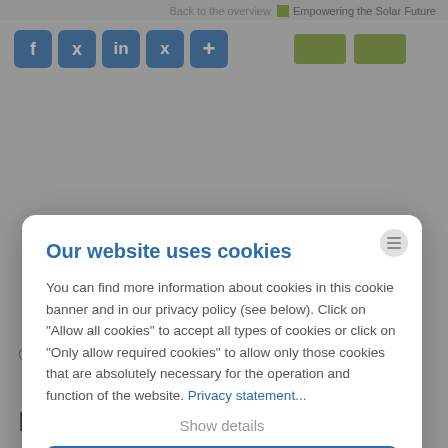[Figure (screenshot): Background webpage with social media icons (Facebook, Twitter, LinkedIn, Xing, share) and green buttons, partially visible]
Our website uses cookies
You can find more information about cookies in this cookie banner and in our privacy policy (see below). Click on "Allow all cookies" to accept all types of cookies or click on "Only allow required cookies" to allow only those cookies that are absolutely necessary for the operation and function of the website. Privacy statement...
Show details
Allow all cookies
Monday- Thursday: 8 am - 5 pm
Friday: 8 am - 2 pm
Legals